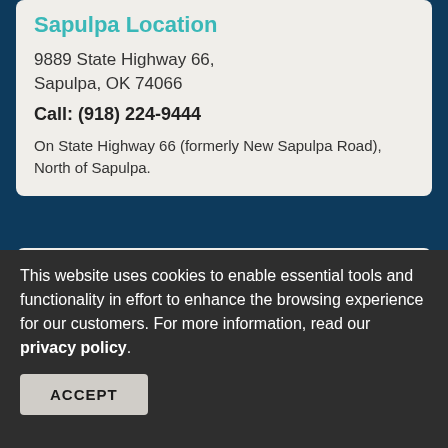Sapulpa Location
9889 State Highway 66,
Sapulpa, OK 74066
Call: (918) 224-9444
On State Highway 66 (formerly New Sapulpa Road), North of Sapulpa.
Winter Hours
Mon-Fri: 8:00 a.m. - 5:00 p.m.
Sat: 9:00 a.m. - 4:00 p.m.
This website uses cookies to enable essential tools and functionality in effort to enhance the browsing experience for our customers. For more information, read our privacy policy.
ACCEPT